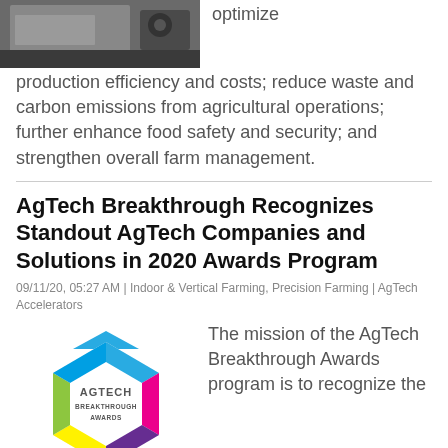[Figure (photo): Partial photo of agricultural equipment/field setting, cropped at top of page]
optimize production efficiency and costs; reduce waste and carbon emissions from agricultural operations; further enhance food safety and security; and strengthen overall farm management.
AgTech Breakthrough Recognizes Standout AgTech Companies and Solutions in 2020 Awards Program
09/11/20, 05:27 AM | Indoor & Vertical Farming, Precision Farming | AgTech Accelerators
[Figure (logo): AgTech Breakthrough Awards hexagonal logo with colorful segments (blue, pink/magenta, purple, yellow, green) and text AGTECH BREAKTHROUGH AWARDS in center]
The mission of the AgTech Breakthrough Awards program is to recognize the
impacted the lives of farmers and the global...